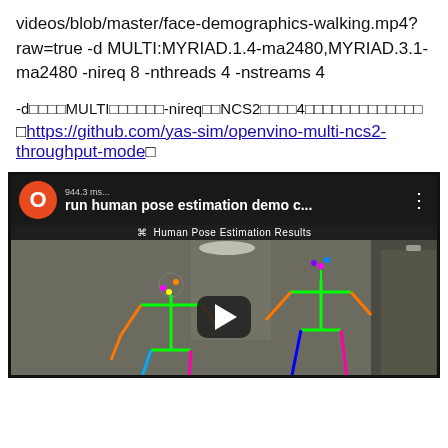videos/blob/master/face-demographics-walking.mp4?
raw=true -d MULTI:MYRIAD.1.4-ma2480,MYRIAD.3.1-ma2480 -nireq 8 -nthreads 4 -nstreams 4
-d□□□□MULTI□□□□□□-nireq□□NCS2□□□□4□□□□□□□□□□□□□
□https://github.com/yas-sim/openvino-multi-ncs2-throughput-mode□
[Figure (screenshot): YouTube video thumbnail showing a human pose estimation demo. Two people in a corridor have colored skeletal overlays drawn on them. The video has a play button in the center, an orange circle avatar on the top left, video title 'run human pose estimation demo c...', and a title bar reading 'Human Pose Estimation Results'.]